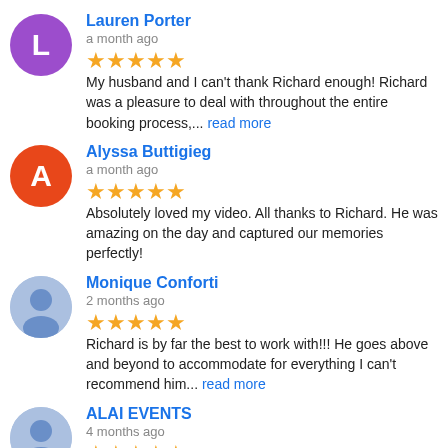Lauren Porter - a month ago - ★★★★★ My husband and I can't thank Richard enough! Richard was a pleasure to deal with throughout the entire booking process,... read more
Alyssa Buttigieg - a month ago - ★★★★★ Absolutely loved my video. All thanks to Richard. He was amazing on the day and captured our memories perfectly!
Monique Conforti - 2 months ago - ★★★★★ Richard is by far the best to work with!!! He goes above and beyond to accommodate for everything I can't recommend him... read more
ALAI EVENTS - 4 months ago - ★★★★★ Thank you so much for capturing